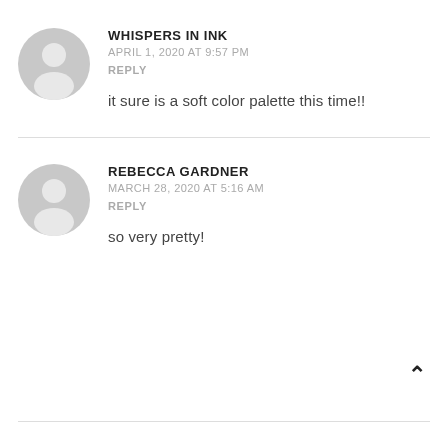[Figure (illustration): Gray circular avatar placeholder icon for user Whispers In Ink]
WHISPERS IN INK
APRIL 1, 2020 AT 9:57 PM
REPLY
it sure is a soft color palette this time!!
[Figure (illustration): Gray circular avatar placeholder icon for user Rebecca Gardner]
REBECCA GARDNER
MARCH 28, 2020 AT 5:16 AM
REPLY
so very pretty!